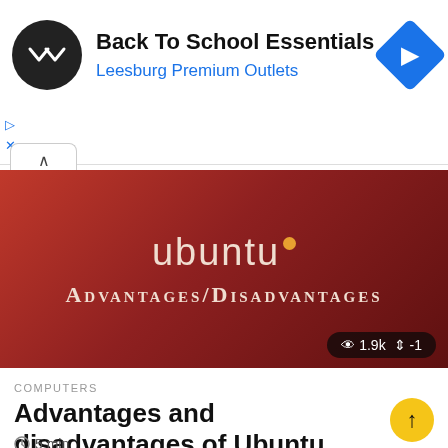[Figure (screenshot): Advertisement banner for Back To School Essentials at Leesburg Premium Outlets with a circular black logo with white arrow icon on the left and a blue diamond navigation icon on the right]
[Figure (screenshot): Ubuntu operating system Advantages/Disadvantages thumbnail image with dark red gradient background, ubuntu text in light color with orange dot, and ADVANTAGES/DISADVANTAGES in serif small-caps below. Stats pill shows eye icon 1.9k and share icon -1]
COMPUTERS
Advantages and disadvantages of Ubuntu operating system
5 min